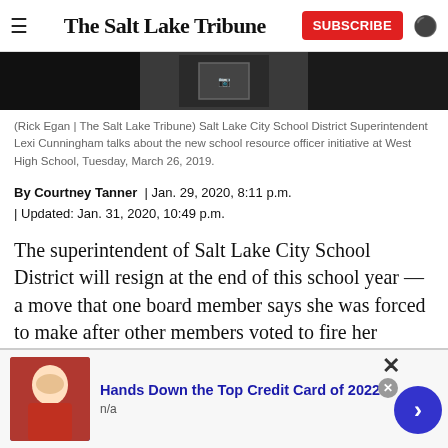The Salt Lake Tribune — SUBSCRIBE
[Figure (photo): Partial photograph cropped — dark image showing a person in a school setting]
(Rick Egan | The Salt Lake Tribune) Salt Lake City School District Superintendent Lexi Cunningham talks about the new school resource officer initiative at West High School, Tuesday, March 26, 2019.
By Courtney Tanner | Jan. 29, 2020, 8:11 p.m.
| Updated: Jan. 31, 2020, 10:49 p.m.
The superintendent of Salt Lake City School District will resign at the end of this school year — a move that one board member says she was forced to make after other members voted to fire her during a heated close
[Figure (other): Advertisement banner — Hands Down the Top Credit Card of 2022, n/a, with photo of woman and navigation arrow]